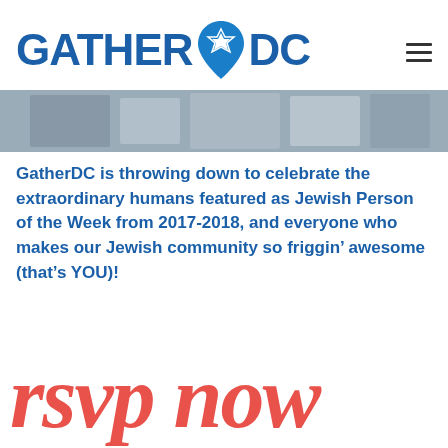[Figure (logo): GatherDC logo with Star of David location pin icon between GATHER and DC text in bold blue]
[Figure (photo): A horizontal photo strip showing people at an event, partially cropped]
GatherDC is throwing down to celebrate the extraordinary humans featured as Jewish Person of the Week from 2017-2018, and everyone who makes our Jewish community so friggin’ awesome (that’s YOU)!
rsvp now